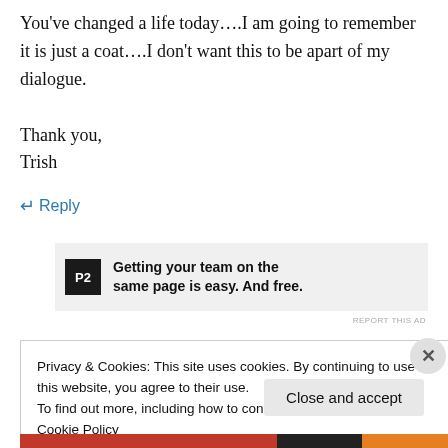You've changed a life today….I am going to remember it is just a coat….I don't want this to be apart of my dialogue.

Thank you,
Trish
↵ Reply
[Figure (screenshot): Advertisement banner for P2: 'Getting your team on the same page is easy. And free.']
REPORT THIS AD
Privacy & Cookies: This site uses cookies. By continuing to use this website, you agree to their use.
To find out more, including how to control cookies, see here: Cookie Policy
Close and accept